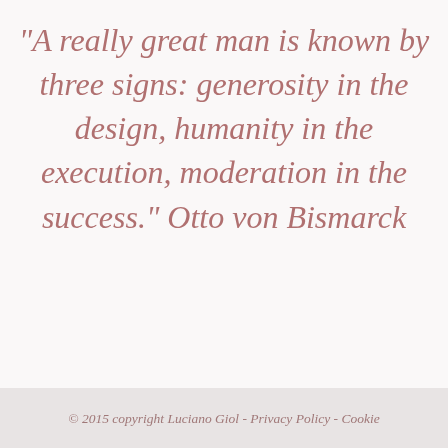"A really great man is known by three signs: generosity in the design, humanity in the execution, moderation in the success." Otto von Bismarck
© 2015 copyright Luciano Giol - Privacy Policy - Cookie